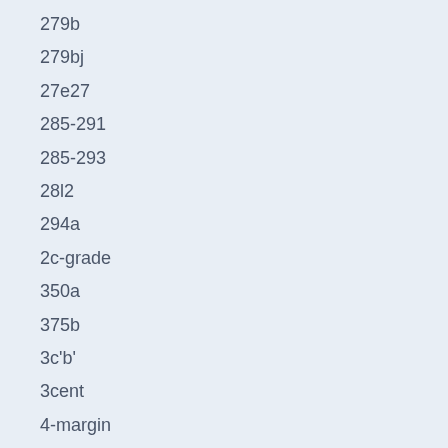279b
279bj
27e27
285-291
285-293
28l2
294a
2c-grade
350a
375b
3c'b'
3cent
4-margin
406c
462-478
482a